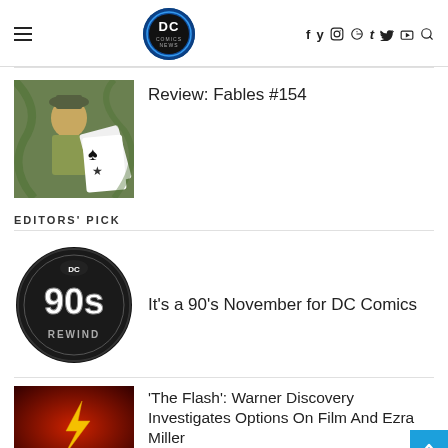DC Comics News navigation header with logo and social icons
[Figure (illustration): Fables #154 comic book cover art showing soldier character with playing cards]
Review: Fables #154
EDITORS' PICK
[Figure (logo): DC 90s Rewind circular badge logo on black background]
It's a 90's November for DC Comics
[Figure (photo): The Flash movie poster with red lightning bolt on dark red background]
'The Flash': Warner Discovery Investigates Options On Film And Ezra Miller